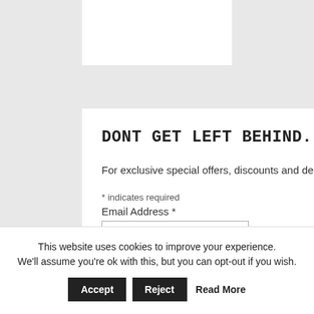DONT GET LEFT BEHIND...
For exclusive special offers, discounts and deals only available to our members, sign up below.
* indicates required
Email Address *
First Name *
This website uses cookies to improve your experience. We'll assume you're ok with this, but you can opt-out if you wish. Accept Reject Read More